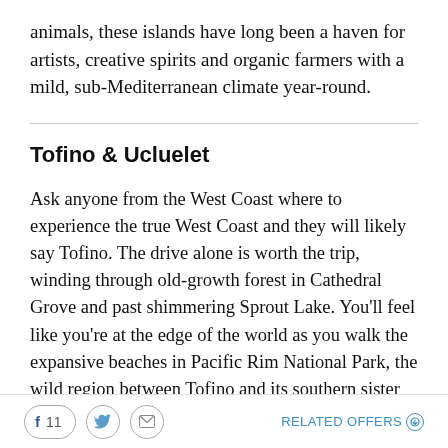animals, these islands have long been a haven for artists, creative spirits and organic farmers with a mild, sub-Mediterranean climate year-round.
Tofino & Ucluelet
Ask anyone from the West Coast where to experience the true West Coast and they will likely say Tofino. The drive alone is worth the trip, winding through old-growth forest in Cathedral Grove and past shimmering Sprout Lake. You'll feel like you're at the edge of the world as you walk the expansive beaches in Pacific Rim National Park, the wild region between Tofino and its southern sister village Ucluelet. The area is a paradise
11  RELATED OFFERS